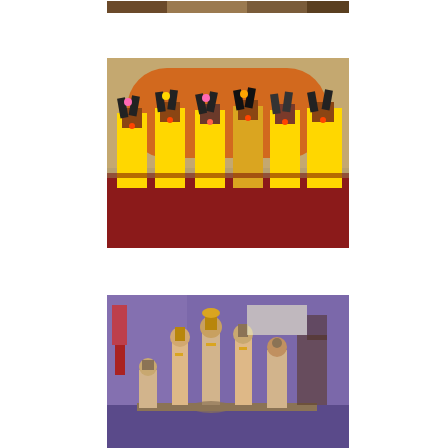[Figure (photo): Partial bottom edge of a photo showing colorful fabric or textile pattern, cropped at top of page]
[Figure (photo): Group of young children in bright yellow and red traditional Indian dance costumes with feathered headdresses, performing on a red stage]
[Figure (photo): Display of traditional Indian wooden folk art figurines/puppets arranged in a room with purple walls]